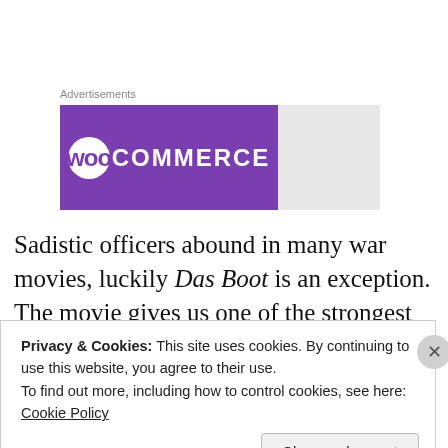Advertisements
[Figure (logo): WooCommerce advertisement banner — purple rectangle with WooCommerce logo, followed by gray rectangle]
Sadistic officers abound in many war movies, luckily Das Boot is an exception. The movie gives us one of the strongest positive commanders I've ever seen in a war movie. I couldn't think of a better actor than Jürgen Prochnow for this role.
Privacy & Cookies: This site uses cookies. By continuing to use this website, you agree to their use.
To find out more, including how to control cookies, see here: Cookie Policy